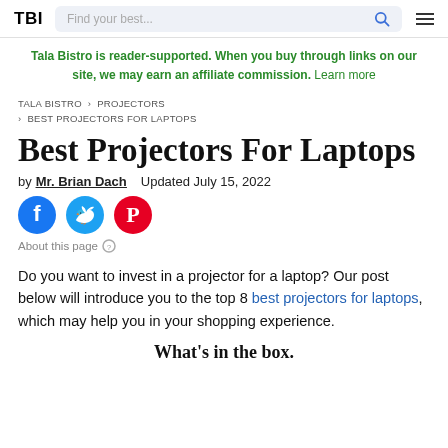TBI — Find your best...
Tala Bistro is reader-supported. When you buy through links on our site, we may earn an affiliate commission. Learn more
TALA BISTRO › PROJECTORS › BEST PROJECTORS FOR LAPTOPS
Best Projectors For Laptops
by Mr. Brian Dach   Updated July 15, 2022
[Figure (other): Social share icons: Facebook, Twitter, Pinterest]
About this page ⓘ
Do you want to invest in a projector for a laptop? Our post below will introduce you to the top 8 best projectors for laptops, which may help you in your shopping experience.
What's in the box.